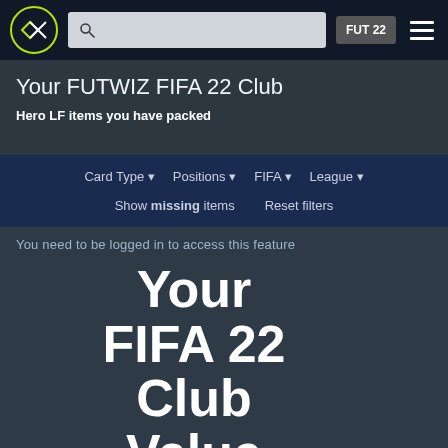FUTWIZ - FUT 22
Your FUTWIZ FIFA 22 Club
Hero LF items you have packed
Card Type   Positions   FIFA   League
Show missing items   Reset filters
You need to be logged in to access this feature
Your FIFA 22 Club Value
0